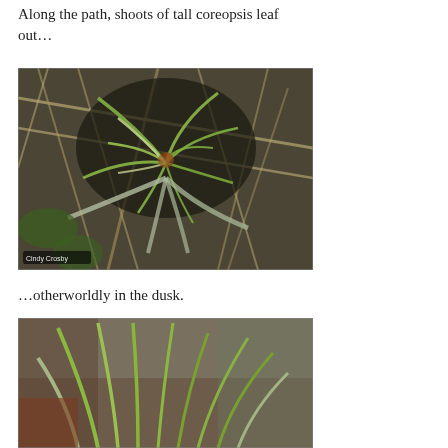Along the path, shoots of tall coreopsis leaf out…
[Figure (photo): Close-up photo of tall coreopsis plant shoots leafing out among dry grass and debris, with thin green and gray-white curling leaves radiating from center. Photo credit: Cindy Crosby.]
…otherworldly in the dusk.
[Figure (photo): Close-up photo of tall coreopsis plant leaves, long thin green blades spreading outward, muted background of browns and greens.]